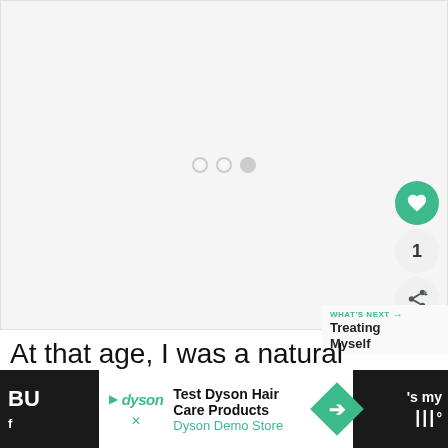[Figure (photo): Light gray image placeholder area with three loading dots (two outline circles and one filled circle) centered in the upper portion of the page. A green heart/like button, a count circle showing '1', and a share button are positioned at the right side.]
WHAT'S NEXT → Treating Myself
At that age, I was a natural fashionist
[Figure (other): Advertisement banner: Dyson hair care products ad with dyson logo, 'Test Dyson Hair Care Products' headline, 'Dyson Demo Store' subtext, and a teal diamond arrow icon. Dark background sections flank the white ad content.]